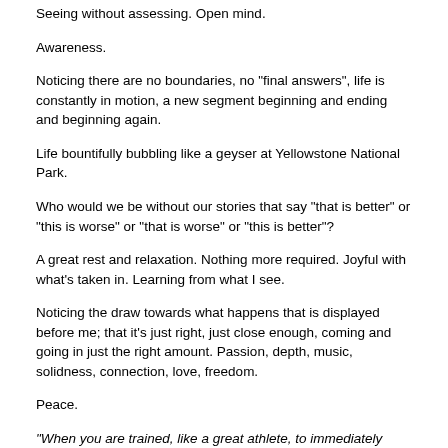Seeing without assessing. Open mind.
Awareness.
Noticing there are no boundaries, no "final answers", life is constantly in motion, a new segment beginning and ending and beginning again.
Life bountifully bubbling like a geyser at Yellowstone National Park.
Who would we be without our stories that say "that is better" or "this is worse" or "that is worse" or "this is better"?
A great rest and relaxation. Nothing more required. Joyful with what's taken in. Learning from what I see.
Noticing the draw towards what happens that is displayed before me; that it's just right, just close enough, coming and going in just the right amount. Passion, depth, music, solidness, connection, love, freedom.
Peace.
"When you are trained, like a great athlete, to immediately relax through your edges when they get hit, then it's all over. You realize that you will always be fine. Nothing can ever..."